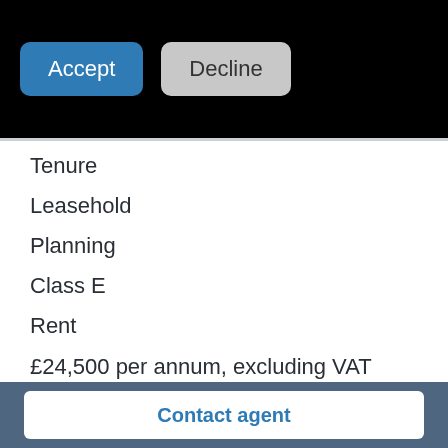[Figure (screenshot): Top black bar with Accept (blue) and Decline (grey) buttons]
Tenure
Leasehold
Planning
Class E
Rent
£24,500 per annum, excluding VAT which is applicable on this transaction.
Rates
Contact agent